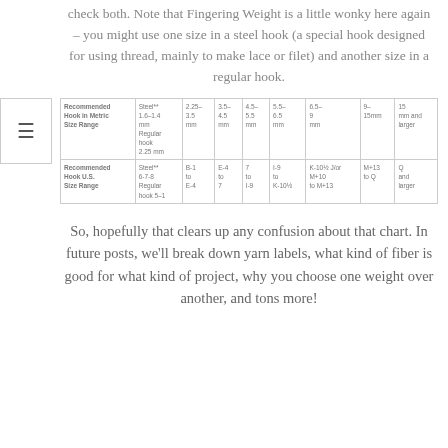check both. Note that Fingering Weight is a little wonky here again – you might use one size in a steel hook (a special hook designed for using thread, mainly to make lace or filet) and another size in a regular hook.
| Recommended Hook in Metric Size Range | Steel** | 2.25–3.5 mm | 3.5–4.5 mm | 4.5–5.5 mm | 5.5–6.5 mm | 6.5–9 mm | 9–15mm | 15 mm and larger |
| --- | --- | --- | --- | --- | --- | --- | --- | --- |
| Recommended Hook U.S. Size Range | Steel** 6-7-8 Regular hook 5-1 | B-1 to E-4 | E-4 to 7 | 7 to I-9 | I-9 to K-10½ | K-10½/Jor M+10 to M+13 | M+13 to Q | Q and larger |
So, hopefully that clears up any confusion about that chart. In future posts, we'll break down yarn labels, what kind of fiber is good for what kind of project, why you choose one weight over another, and tons more!